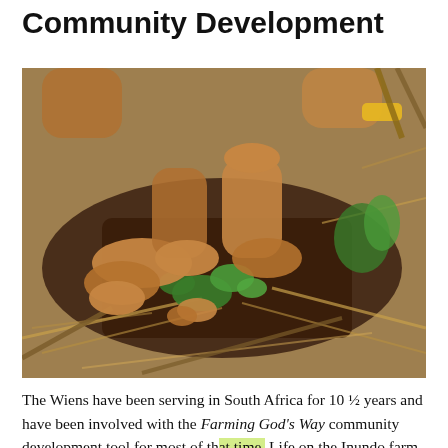Community Development
[Figure (photo): Hands of a person planting or tending to small green seedlings in dark soil surrounded by dry straw and mulch, outdoors on a farm.]
The Wiens have been serving in South Africa for 10 ½ years and have been involved with the Farming God's Way community development tool for most of that time. Life on the Inundo farm began only 6 months before COVID hit and, in God's perfect timing, this has